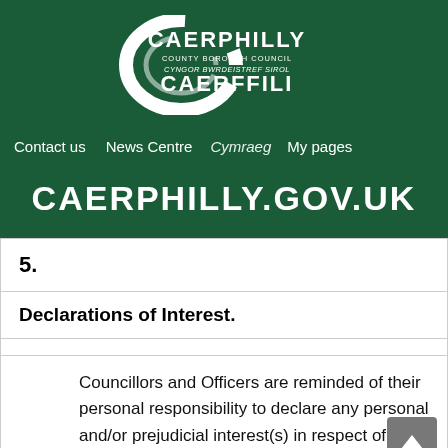[Figure (logo): Caerphilly County Borough Council / Cyngor Bwrdeistref Sirol Caerffili logo — white C-shaped swoosh with text CAERPHILLY COUNTY BOROUGH COUNCIL / CYNGOR BWRDEISTREF SIROL / CAERFFILI on dark green background]
Contact us   News Centre   Cymraeg   My pages
CAERPHILLY.GOV.UK
| 5. |  |
| Declarations of Interest. |  |
|  |  |
| Councillors and Officers are reminded of their personal responsibility to declare any personal and/or prejudicial interest(s) in respect of any item of |  |